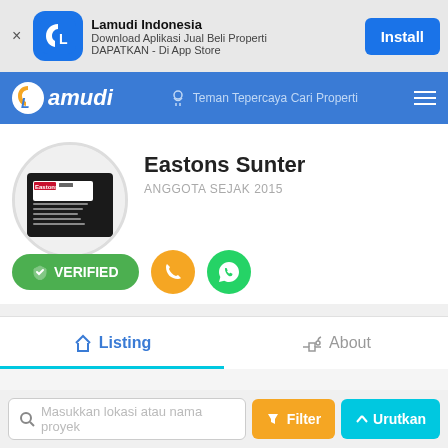[Figure (screenshot): Lamudi Indonesia app install banner with icon, text, and Install button]
[Figure (screenshot): Lamudi navigation bar with logo, tagline 'Teman Tepercaya Cari Properti', and hamburger menu]
[Figure (screenshot): Agent profile: Eastons Sunter, ANGGOTA SEJAK 2015, with avatar image, VERIFIED badge, phone and WhatsApp buttons]
[Figure (screenshot): Tab bar with active Listing tab and About tab, with cyan underline on Listing]
[Figure (screenshot): Search bar with placeholder 'Masukkan lokasi atau nama proyek', Filter button, and Urutkan button]